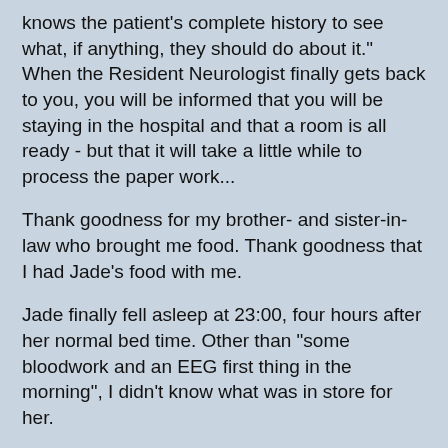knows the patient's complete history to see what, if anything, they should do about it." When the Resident Neurologist finally gets back to you, you will be informed that you will be staying in the hospital and that a room is all ready - but that it will take a little while to process the paper work...
Thank goodness for my brother- and sister-in-law who brought me food. Thank goodness that I had Jade's food with me.
Jade finally fell asleep at 23:00, four hours after her normal bed time. Other than "some bloodwork and an EEG first thing in the morning", I didn't know what was in store for her.
Our Hospital Room
Our room was the lap of luxury.
Not.
When I was five-years-old, or so, I met a kid with a hunched back for the first time. I wondered how his back got that way. He must have slept in the same pull out chair that I had to